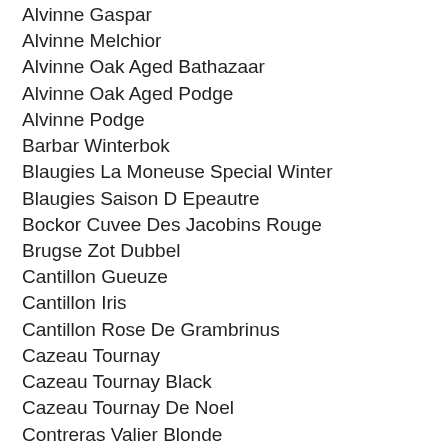Alvinne Gaspar
Alvinne Melchior
Alvinne Oak Aged Bathazaar
Alvinne Oak Aged Podge
Alvinne Podge
Barbar Winterbok
Blaugies La Moneuse Special Winter
Blaugies Saison D Epeautre
Bockor Cuvee Des Jacobins Rouge
Brugse Zot Dubbel
Cantillon Gueuze
Cantillon Iris
Cantillon Rose De Grambrinus
Cazeau Tournay
Cazeau Tournay Black
Cazeau Tournay De Noel
Contreras Valier Blonde
Contreras Valier Extra
Contreras Valier Bie...